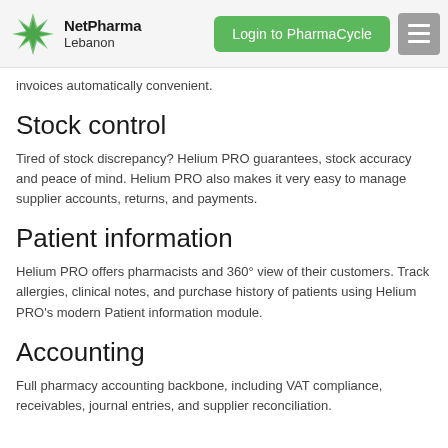NetPharma Lebanon | Login to PharmaCycle
invoices automatically convenient.
Stock control
Tired of stock discrepancy? Helium PRO guarantees, stock accuracy and peace of mind. Helium PRO also makes it very easy to manage supplier accounts, returns, and payments.
Patient information
Helium PRO offers pharmacists and 360° view of their customers. Track allergies, clinical notes, and purchase history of patients using Helium PRO's modern Patient information module.
Accounting
Full pharmacy accounting backbone, including VAT compliance, receivables, journal entries, and supplier reconciliation.